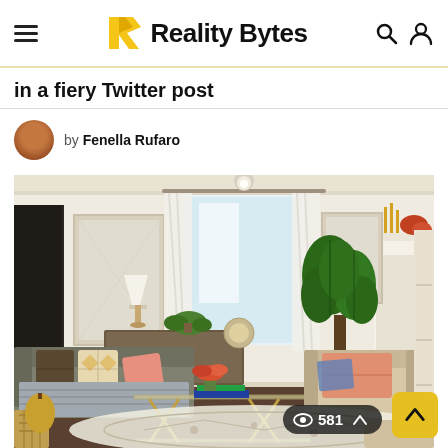Reality Bytes
in a fiery Twitter post
by Fenella Rufaro
[Figure (photo): Bright, airy living room with neutral tones, a grey sofa with patterned cushions, a glass coffee table with flowers, two beige armchairs, a large fiddle-leaf fig plant, white curtains, mirrors, and a fireplace.]
581